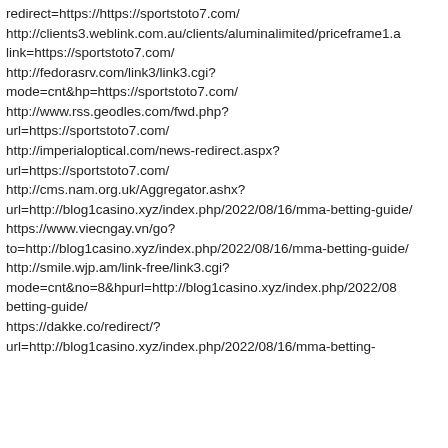redirect=https://https://sportstoto7.com/
http://clients3.weblink.com.au/clients/aluminalimited/priceframe1.a link=https://sportstoto7.com/
http://fedorasrv.com/link3/link3.cgi?
mode=cnt&hp=https://sportstoto7.com/
http://www.rss.geodles.com/fwd.php?
url=https://sportstoto7.com/
http://imperialoptical.com/news-redirect.aspx?
url=https://sportstoto7.com/
http://cms.nam.org.uk/Aggregator.ashx?
url=http://blog1casino.xyz/index.php/2022/08/16/mma-betting-guide/
https://www.viecngay.vn/go?
to=http://blog1casino.xyz/index.php/2022/08/16/mma-betting-guide/
http://smile.wjp.am/link-free/link3.cgi?
mode=cnt&no=8&hpurl=http://blog1casino.xyz/index.php/2022/08/ betting-guide/
https://dakke.co/redirect/?
url=http://blog1casino.xyz/index.php/2022/08/16/mma-betting-